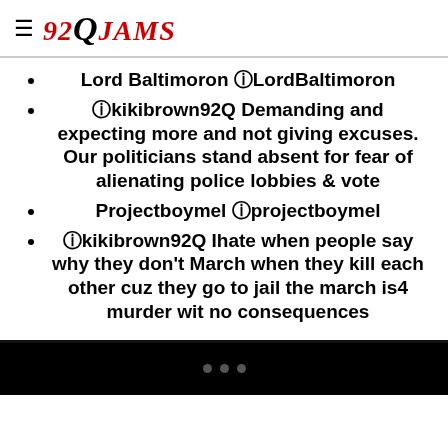92Q JAMS
Lord Baltimoron @LordBaltimoron
@kikibrown92Q Demanding and expecting more and not giving excuses. Our politicians stand absent for fear of alienating police lobbies & vote
Projectboymel @projectboymel
@kikibrown92Q Ihate when people say why they don't March when they kill each other cuz they go to jail the march is4 murder wit no consequences
...